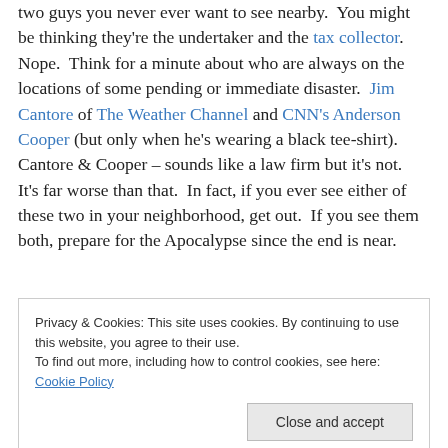two guys you never ever want to see nearby. You might be thinking they're the undertaker and the tax collector. Nope. Think for a minute about who are always on the locations of some pending or immediate disaster. Jim Cantore of The Weather Channel and CNN's Anderson Cooper (but only when he's wearing a black tee-shirt). Cantore & Cooper – sounds like a law firm but it's not. It's far worse than that. In fact, if you ever see either of these two in your neighborhood, get out. If you see them both, prepare for the Apocalypse since the end is near.
Privacy & Cookies: This site uses cookies. By continuing to use this website, you agree to their use. To find out more, including how to control cookies, see here: Cookie Policy